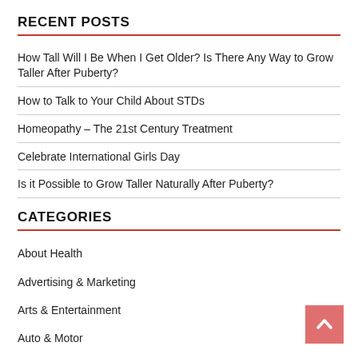RECENT POSTS
How Tall Will I Be When I Get Older? Is There Any Way to Grow Taller After Puberty?
How to Talk to Your Child About STDs
Homeopathy – The 21st Century Treatment
Celebrate International Girls Day
Is it Possible to Grow Taller Naturally After Puberty?
CATEGORIES
About Health
Advertising & Marketing
Arts & Entertainment
Auto & Motor